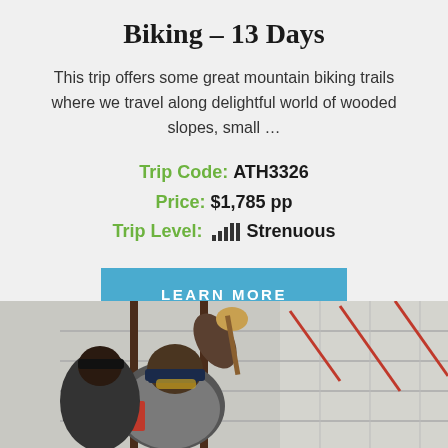Biking – 13 Days
This trip offers some great mountain biking trails where we travel along delightful world of wooded slopes, small …
Trip Code: ATH3326
Price: $1,785 pp
Trip Level: Strenuous
[Figure (other): Blue 'LEARN MORE' button]
[Figure (photo): Person wearing a cap and gloves working on a brick/tile wall, painting or applying material with tools]